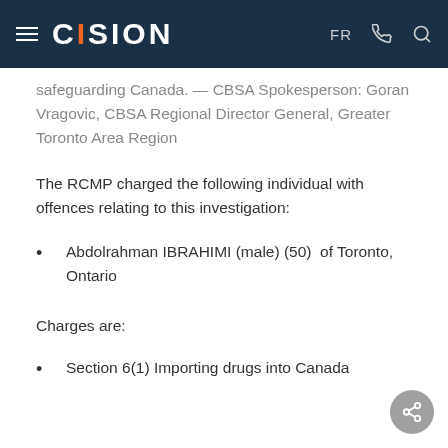CISION — FR [phone icon] [search icon]
safeguarding Canada. — CBSA Spokesperson: Goran Vragovic, CBSA Regional Director General, Greater Toronto Area Region
The RCMP charged the following individual with offences relating to this investigation:
Abdolrahman IBRAHIMI (male) (50)  of Toronto, Ontario
Charges are:
Section 6(1) Importing drugs into Canada